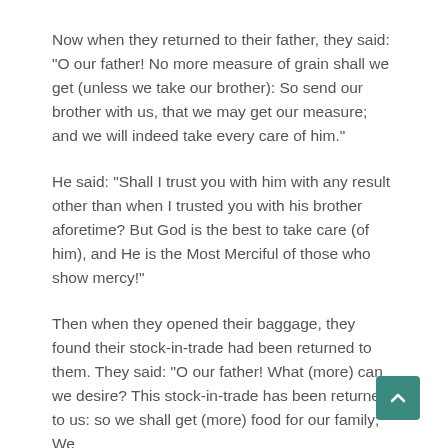Now when they returned to their father, they said: “O our father! No more measure of grain shall we get (unless we take our brother): So send our brother with us, that we may get our measure; and we will indeed take every care of him.”
He said: “Shall I trust you with him with any result other than when I trusted you with his brother aforetime? But God is the best to take care (of him), and He is the Most Merciful of those who show mercy!”
Then when they opened their baggage, they found their stock-in-trade had been returned to them. They said: “O our father! What (more) can we desire? This stock-in-trade has been returned to us: so we shall get (more) food for our family; We